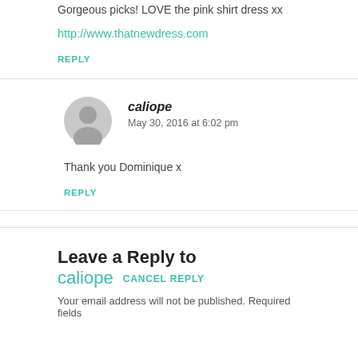Gorgeous picks! LOVE the pink shirt dress xx
http://www.thatnewdress.com
REPLY
[Figure (illustration): Gray circular user avatar silhouette icon]
caliope
May 30, 2016 at 6:02 pm
Thank you Dominique x
REPLY
Leave a Reply to caliope CANCEL REPLY
Your email address will not be published. Required fields